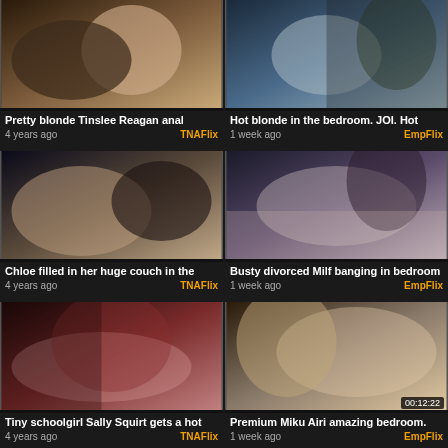[Figure (photo): Thumbnail 1 - blonde adult content scene]
Pretty blonde Tinslee Reagan anal
4 years ago — TNAFlix
[Figure (photo): Thumbnail 2 - bedroom scene]
Hot blonde in the bedroom. JOI. Hot
1 week ago — EmpFlix
[Figure (photo): Thumbnail 3 - couch scene]
Chloe filled in her huge couch in the
4 years ago — TNAFlix
[Figure (photo): Thumbnail 4 - bedroom Milf scene]
Busty divorced Milf banging in bedroom
1 week ago — EmpFlix
[Figure (photo): Thumbnail 5 - schoolgirl scene]
Tiny schoolgirl Sally Squirt gets a hot
4 years ago — TNAFlix
[Figure (photo): Thumbnail 6 - Miku Airi scene, duration 00:12:22]
Premium Miku Airi amazing bedroom.
1 week ago — EmpFlix